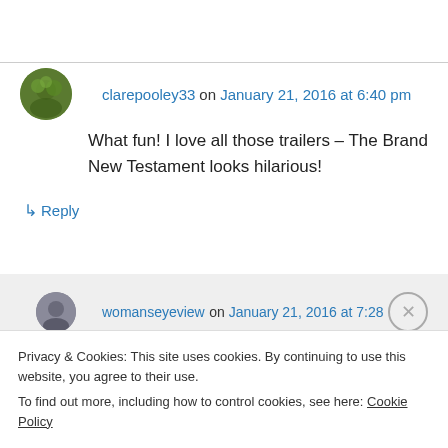clarepooley33 on January 21, 2016 at 6:40 pm
What fun! I love all those trailers – The Brand New Testament looks hilarious!
↳ Reply
womanseyeview on January 21, 2016 at 7:28
Privacy & Cookies: This site uses cookies. By continuing to use this website, you agree to their use.
To find out more, including how to control cookies, see here: Cookie Policy
Close and accept